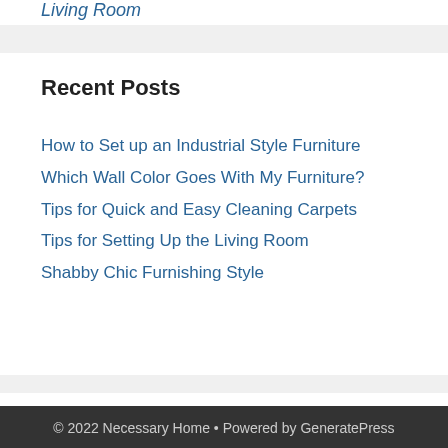Living Room
Recent Posts
How to Set up an Industrial Style Furniture
Which Wall Color Goes With My Furniture?
Tips for Quick and Easy Cleaning Carpets
Tips for Setting Up the Living Room
Shabby Chic Furnishing Style
© 2022 Necessary Home • Powered by GeneratePress